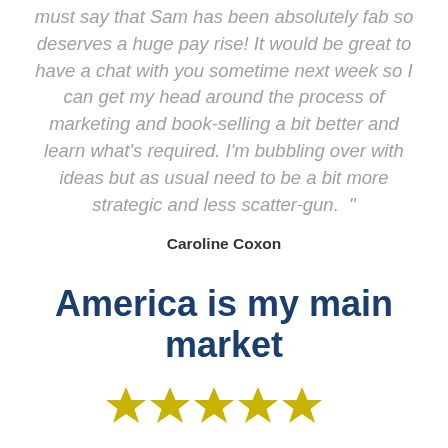must say that Sam has been absolutely fab so deserves a huge pay rise! It would be great to have a chat with you sometime next week so I can get my head around the process of marketing and book-selling a bit better and learn what's required. I'm bubbling over with ideas but as usual need to be a bit more strategic and less scatter-gun. "
Caroline Coxon
America is my main market
[Figure (other): Five gold/yellow star rating icons displayed in a row]